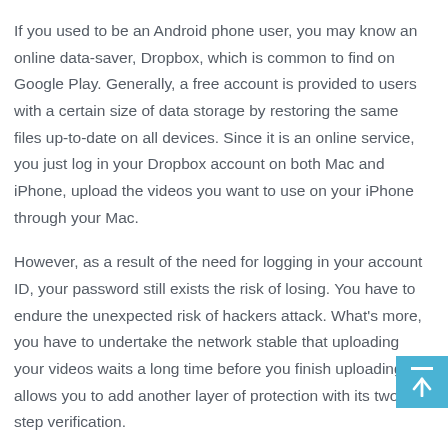If you used to be an Android phone user, you may know an online data-saver, Dropbox, which is common to find on Google Play. Generally, a free account is provided to users with a certain size of data storage by restoring the same files up-to-date on all devices. Since it is an online service, you just log in your Dropbox account on both Mac and iPhone, upload the videos you want to use on your iPhone through your Mac.
However, as a result of the need for logging in your account ID, your password still exists the risk of losing. You have to endure the unexpected risk of hackers attack. What's more, you have to undertake the network stable that uploading your videos waits a long time before you finish uploading. It allows you to add another layer of protection with its two-step verification.